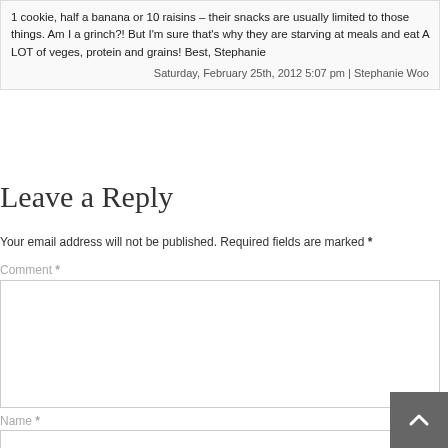1 cookie, half a banana or 10 raisins – their snacks are usually limited to those things. Am I a grinch?! But I'm sure that's why they are starving at meals and eat A LOT of veges, protein and grains! Best, Stephanie
Saturday, February 25th, 2012 5:07 pm | Stephanie Woo
Leave a Reply
Your email address will not be published. Required fields are marked *
Comment *
Name *
Email *